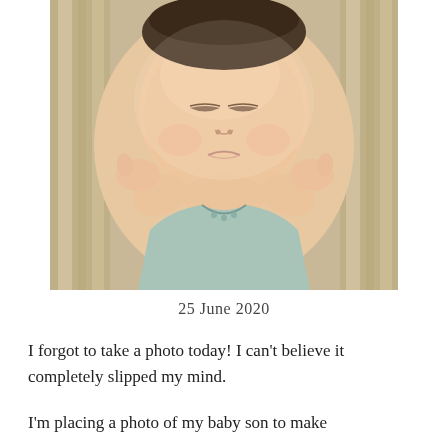[Figure (photo): Close-up photograph of a sleeping newborn baby wearing a light blue/green onesie, lying on a striped blanket with hands raised near face]
25 June 2020
I forgot to take a photo today! I can't believe it completely slipped my mind.
I'm placing a photo of my baby son to make